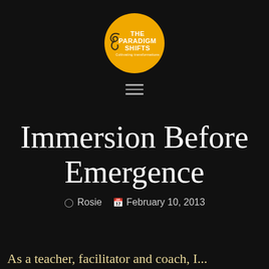[Figure (logo): The Paradigm Shifts logo - circular golden/amber badge with white text and decorative swirl, text reads: THE PARADIGM SHIFTS with tagline below]
Immersion Before Emergence
Rosie  February 10, 2013
As a teacher, facilitator and coach, I...